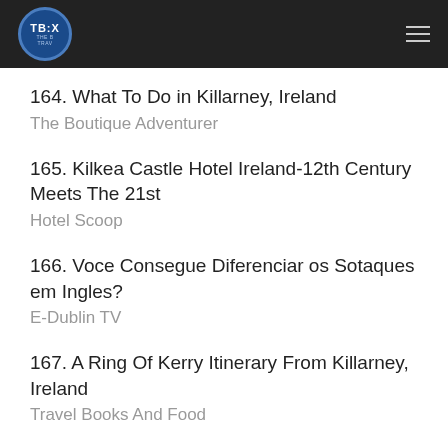TBX
164. What To Do in Killarney, Ireland
The Boutique Adventurer
165. Kilkea Castle Hotel Ireland-12th Century Meets The 21st
Hotel Scoop
166. Voce Consegue Diferenciar os Sotaques em Ingles?
E-Dublin TV
167. A Ring Of Kerry Itinerary From Killarney, Ireland
Travel Books And Food